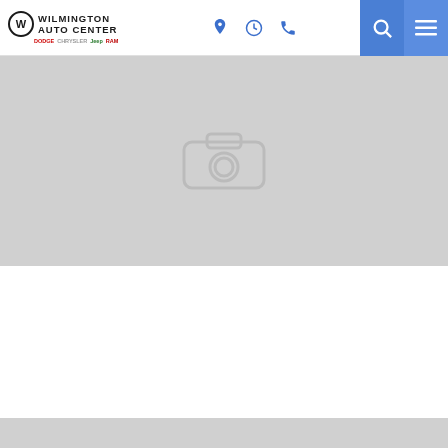Wilmington Auto Center
[Figure (photo): Placeholder image with camera icon on gray background representing a vehicle photo]
2020 SLT
6.4L, 6-Speed Auto Aisin AS66RC HD
| Price | MPG |
| --- | --- |
| $39,320 MSRP | 0/0 MPG |